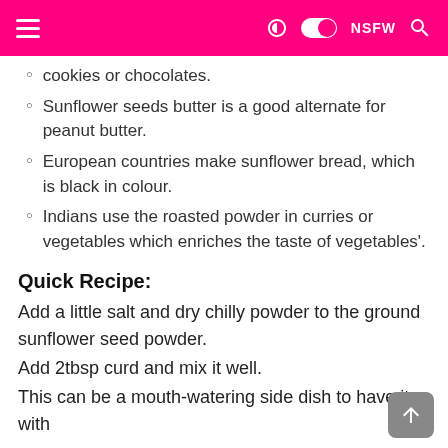≡  NSFW
cookies or chocolates.
Sunflower seeds butter is a good alternate for peanut butter.
European countries make sunflower bread, which is black in colour.
Indians use the roasted powder in curries or vegetables which enriches the taste of vegetables'.
Quick Recipe:
Add a little salt and dry chilly powder to the ground sunflower seed powder.
Add 2tbsp curd and mix it well.
This can be a mouth-watering side dish to have it with